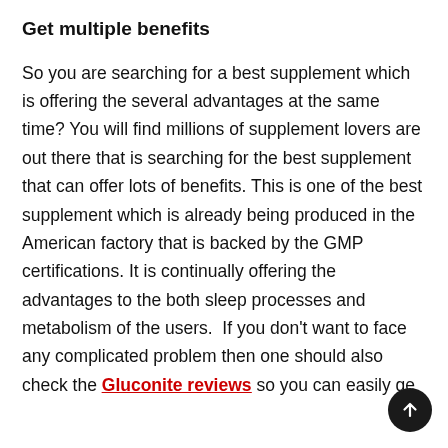Get multiple benefits
So you are searching for a best supplement which is offering the several advantages at the same time? You will find millions of supplement lovers are out there that is searching for the best supplement that can offer lots of benefits. This is one of the best supplement which is already being produced in the American factory that is backed by the GMP certifications. It is continually offering the advantages to the both sleep processes and metabolism of the users.  If you don't want to face any complicated problem then one should also check the Gluconite reviews so you can easily ge